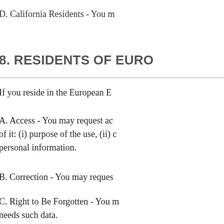D. California Residents - You m
8. RESIDENTS OF EURO
If you reside in the European E
A. Access - You may request ac of it: (i) purpose of the use, (ii) c personal information.
B. Correction - You may reques
C. Right to Be Forgotten - You needs such data.
D. Withdraw Consent - If our ab withdraw such consent.
E. Restriction - You may reques
F. Object - You may object to o
G. Copies and Portability - You commonly used, and machine r
H. Complaint - You may lodge a